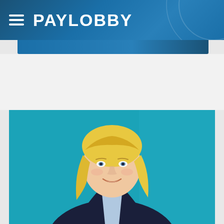PAYLOBBY
[Figure (photo): Professional headshot of a smiling blonde woman wearing a dark blazer and light blue shirt, photographed against a teal/cyan blue background. The image is a corporate-style portrait.]